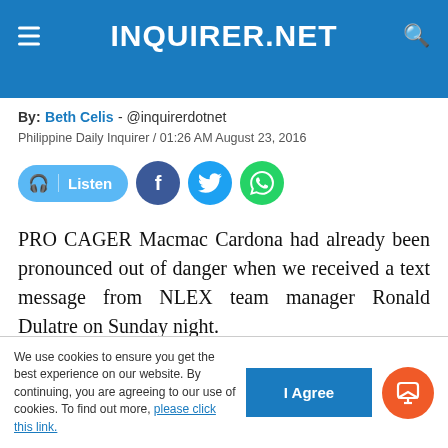INQUIRER.NET
[headline text truncated]
By: Beth Celis - @inquirerdotnet
Philippine Daily Inquirer / 01:26 AM August 23, 2016
[Figure (infographic): Listen button and social share buttons for Facebook, Twitter, and WhatsApp]
PRO CAGER Macmac Cardona had already been pronounced out of danger when we received a text message from NLEX team manager Ronald Dulatre on Sunday night.
Dulatre was urging the public " to allow
We use cookies to ensure you get the best experience on our website. By continuing, you are agreeing to our use of cookies. To find out more, please click this link.